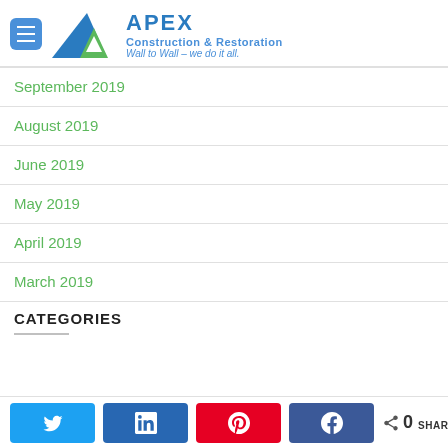[Figure (logo): Apex Construction & Restoration logo with mountain/triangle graphic, tagline 'Wall to Wall - we do it all.']
September 2019
August 2019
June 2019
May 2019
April 2019
March 2019
CATEGORIES
N in Share | Pinterest icon | Facebook icon | 0 SHARES